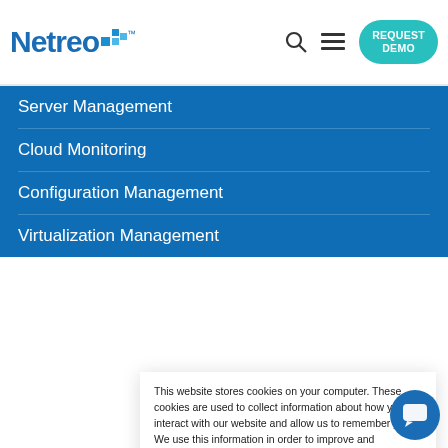Netreo™ — REQUEST DEMO
Server Management
Cloud Monitoring
Configuration Management
Virtualization Management
This website stores cookies on your computer. These cookies are used to collect information about how you interact with our website and allow us to remember you. We use this information in order to improve and customize your browsing experience and for analytics and metrics about our visitors both on this website and other media. To find out more about the cookies we use, see our Privacy Policy.
If you decline, your information won't be tracked when you visit this website. A single cookie will be used in your browser to remember your preference not to be tracked.